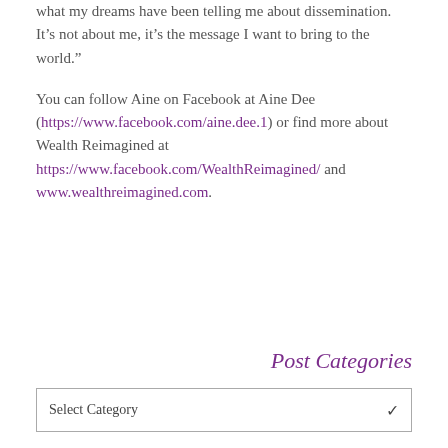what my dreams have been telling me about dissemination.  It’s not about me, it’s the message I want to bring to the world.”
You can follow Aine on Facebook at Aine Dee (https://www.facebook.com/aine.dee.1) or find more about Wealth Reimagined at https://www.facebook.com/WealthReimagined/ and www.wealthreimagined.com.
Post Categories
Select Category